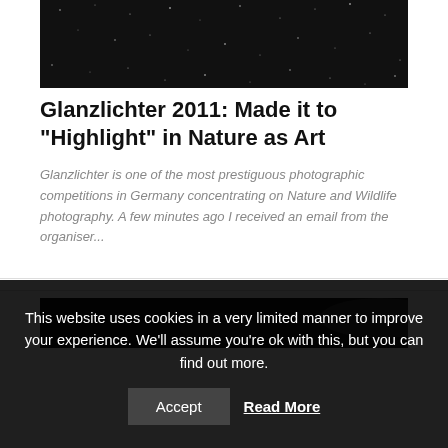[Figure (photo): Dark starry night sky photograph, mostly black with small white specks]
Glanzlichter 2011: Made it to “Highlight” in Nature as Art
Glanzlichter is one of the most prestiguous photographic competitions in Germany concentrating on Nature and Wildlife photography. A few minutes ago I received an email from the organiser...
[Figure (photo): Dark blurry photograph, predominantly black with some lighter areas]
This website uses cookies in a very limited manner to improve your experience. We'll assume you're ok with this, but you can find out more.